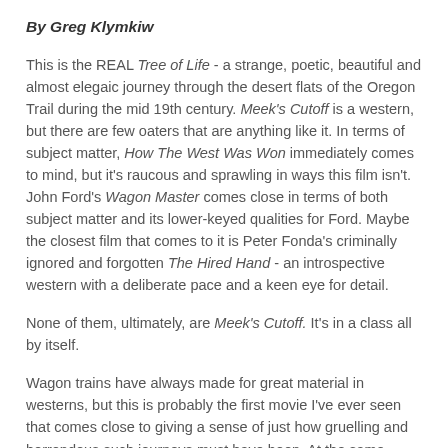By Greg Klymkiw
This is the REAL Tree of Life - a strange, poetic, beautiful and almost elegaic journey through the desert flats of the Oregon Trail during the mid 19th century. Meek's Cutoff is a western, but there are few oaters that are anything like it. In terms of subject matter, How The West Was Won immediately comes to mind, but it's raucous and sprawling in ways this film isn't. John Ford's Wagon Master comes close in terms of both subject matter and its lower-keyed qualities for Ford. Maybe the closest film that comes to it is Peter Fonda's criminally ignored and forgotten The Hired Hand - an introspective western with a deliberate pace and a keen eye for detail.
None of them, ultimately, are Meek's Cutoff. It's in a class all by itself.
Wagon trains have always made for great material in westerns, but this is probably the first movie I've ever seen that comes close to giving a sense of just how gruelling and horrendous such journeys must have been. At the same